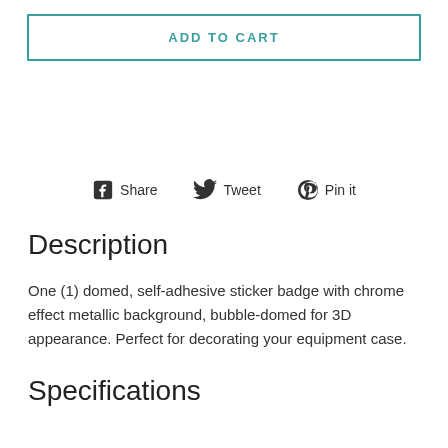ADD TO CART
[Figure (infographic): Social sharing icons row: Facebook Share, Twitter Tweet, Pinterest Pin it]
Description
One (1) domed, self-adhesive sticker badge with chrome effect metallic background, bubble-domed for 3D appearance. Perfect for decorating your equipment case.
Specifications